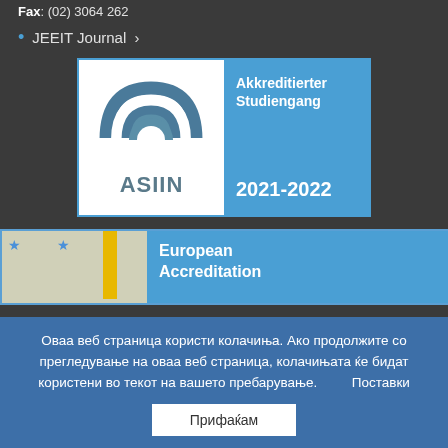Fax: (02) 3064 262
JEEIT Journal ›
[Figure (logo): ASIIN accreditation badge showing ASIIN logo on white background with 'Akkreditierter Studiengang' and '2021-2022' on blue background]
[Figure (logo): European Accreditation badge partially visible, showing EU stars and yellow stripe on left, blue section with 'European Accreditation' text on right]
Оваа веб страница користи колачиња. Ако продолжите со прегледување на оваа веб страница, колачињата ќе бидат користени во текот на вашето пребарување.      Поставки
Прифаќам